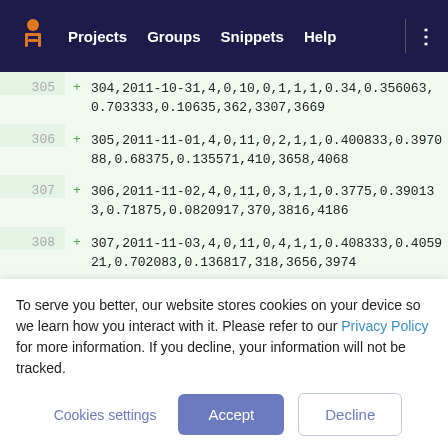Projects  Groups  Snippets  Help
305  + 304,2011-10-31,4,0,10,0,1,1,1,0.34,0.356063,0.703333,0.10635,362,3307,3669
306  + 305,2011-11-01,4,0,11,0,2,1,1,0.400833,0.397088,0.68375,0.135571,410,3658,4068
307  + 306,2011-11-02,4,0,11,0,3,1,1,0.3775,0.390133,0.71875,0.0820917,370,3816,4186
308  + 307,2011-11-03,4,0,11,0,4,1,1,0.408333,0.405921,0.702083,0.136817,318,3656,3974
To serve you better, our website stores cookies on your device so we learn how you interact with it. Please refer to our Privacy Policy for more information. If you decline, your information will not be tracked.